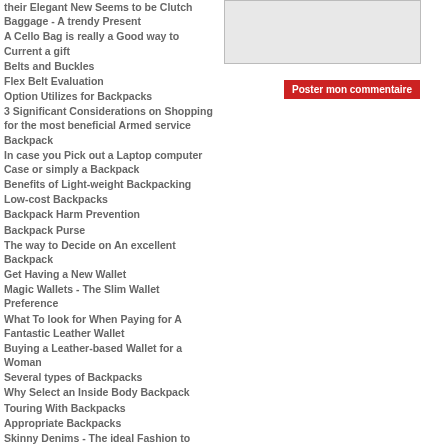their Elegant New Seems to be Clutch Baggage - A trendy Present
A Cello Bag is really a Good way to Current a gift
Belts and Buckles
Flex Belt Evaluation
Option Utilizes for Backpacks
3 Significant Considerations on Shopping for the most beneficial Armed service Backpack
In case you Pick out a Laptop computer Case or simply a Backpack
Benefits of Light-weight Backpacking
Low-cost Backpacks
Backpack Harm Prevention
Backpack Purse
The way to Decide on An excellent Backpack
Get Having a New Wallet
Magic Wallets - The Slim Wallet Preference
What To look for When Paying for A Fantastic Leather Wallet
Buying a Leather-based Wallet for a Woman
Several types of Backpacks
Why Select an Inside Body Backpack
Touring With Backpacks
Appropriate Backpacks
Skinny Denims - The ideal Fashion to start out the Period
Heritage of Blue Denims in america
Adaptable Denims - It is really All from the Clean
Ways to Find the Ideal Denims For As well as Sizes
Clever Jewelry Recommendations
Understanding Fantastic Jewellery
The different Classes Of Antique Jewelry
[Figure (other): Grey placeholder box in the right column]
Poster mon commentaire